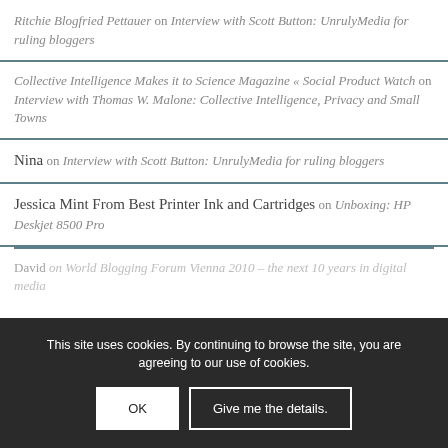Ritchie Blogfried Pettauer on Interview with Scott Button: UnrulyMedia for ruling bloggers
Collective Intelligence Makes it to Science Magazine « Social Product Watch on Interview with Thomas W. Malone: Collective Intelligence, Privacy and Small Towns
Nina on Interview with Scott Button: UnrulyMedia for ruling bloggers
Jessica Mint From Best Printer Ink and Cartridges on Unboxing: HP Deskjet 8500 Pro
David on World Blogging Forum Vienna 2010 – the next 10 years in digital media
This site uses cookies. By continuing to browse the site, you are agreeing to our use of cookies.